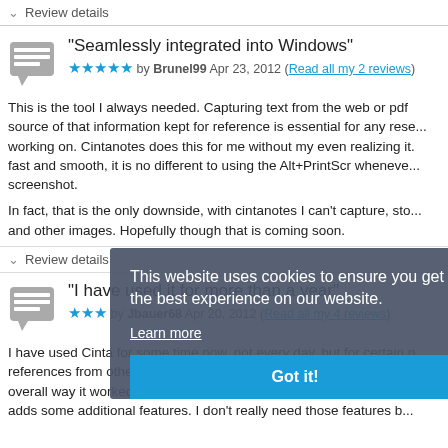Review details
“Seamlessly integrated into Windows”
★★★★★ by Brunel99 Apr 23, 2012 (Read all my 2 reviews)
This is the tool I always needed. Capturing text from the web or pdf source of that information kept for reference is essential for any rese... working on. Cintanotes does this for me without my even realizing it. fast and smooth, it is no different to using the Alt+PrintScr wheneve... screenshot.
In fact, that is the only downside, with cintanotes I can't capture, sto... and other images. Hopefully though that is coming soon.
Review details
[Figure (screenshot): Cookie consent popup overlay: 'This website uses cookies to ensure you get the best experience on our website. Learn more' with a 'Got it!' button]
“I have used it for more than a year”
★★★ by Jbauer68 Apr 20, 2012 (Read all my 4 reviews)
I have used Cinta for some time now, not every day, but for certain p... references from other websites. The program has steadily improved... overall way it worked. As of the latest version, they now offer a com... adds some additional features. I don't really need those features b...